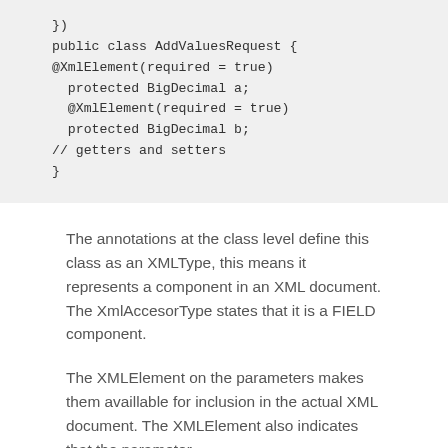})
    public class AddValuesRequest {
    @XmlElement(required = true)
      protected BigDecimal a;
      @XmlElement(required = true)
      protected BigDecimal b;
    // getters and setters
    }
The annotations at the class level define this class as an XMLType, this means it represents a component in an XML document. The XmlAccesorType states that it is a FIELD component.
The XMLElement on the parameters makes them availlable for inclusion in the actual XML document. The XMLElement also indicates that the parameter